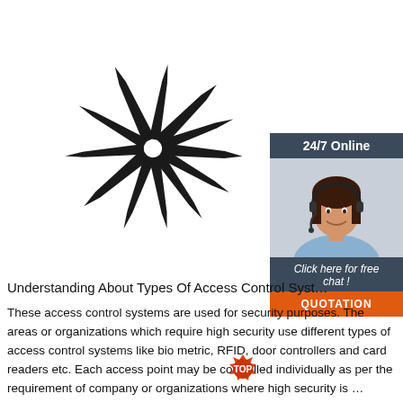[Figure (photo): Black spike/arrow shapes arranged in a sunburst/radial pattern on white background, resembling a loading spinner or decorative security spikes]
[Figure (photo): Chat widget with dark blue-grey header saying '24/7 Online', photo of smiling woman with headset, dark body text 'Click here for free chat!', and orange 'QUOTATION' button]
Understanding About Types Of Access Control Syst...
These access control systems are used for security purposes. The areas or organizations which require high security use different types of access control systems like bio metric, RFID, door controllers and card readers etc. Each access point may be controlled individually as per the requirement of company or organizations where high security is ...